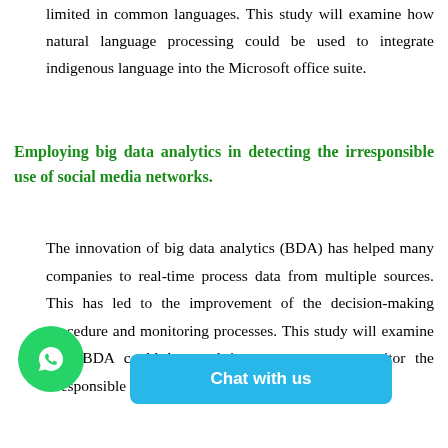limited in common languages. This study will examine how natural language processing could be used to integrate indigenous language into the Microsoft office suite.
Employing big data analytics in detecting the irresponsible use of social media networks.
The innovation of big data analytics (BDA) has helped many companies to real-time process data from multiple sources. This has led to the improvement of the decision-making procedure and monitoring processes. This study will examine how BDA could be used in a company to monitor the irresponsible use of social media networks.